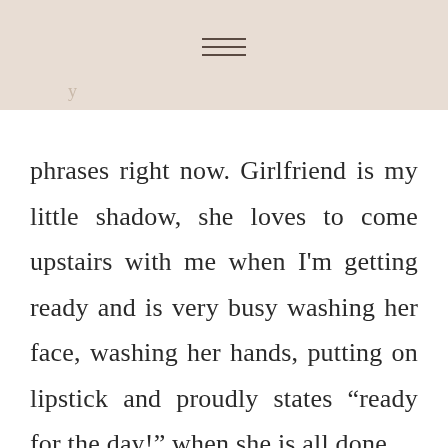phrases right now. Girlfriend is my little shadow, she loves to come upstairs with me when I'm getting ready and is very busy washing her face, washing her hands, putting on lipstick and proudly states “ready for the day!” when she is all done.